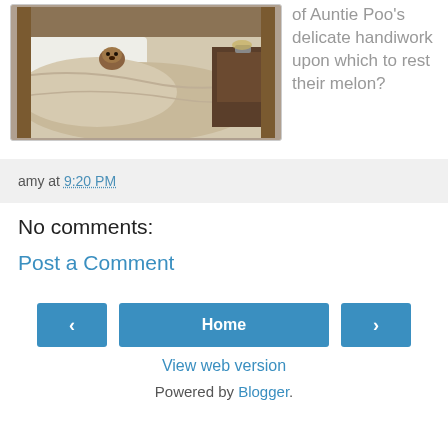[Figure (photo): A dog tucked under white bedding in a rustic wooden bed, with a nightstand visible in the background]
of Auntie Poo's delicate handiwork upon which to rest their melon?
amy at 9:20 PM
No comments:
Post a Comment
‹
Home
›
View web version
Powered by Blogger.